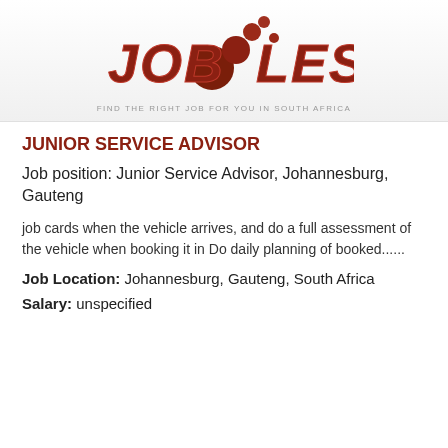[Figure (logo): Jobless logo with brown bubble-style text reading JOB LESS with decorative circles, and tagline FIND THE RIGHT JOB FOR YOU IN SOUTH AFRICA]
JUNIOR SERVICE ADVISOR
Job position: Junior Service Advisor, Johannesburg, Gauteng
job cards when the vehicle arrives, and do a full assessment of the vehicle when booking it in Do daily planning of booked......
Job Location: Johannesburg, Gauteng, South Africa
Salary: unspecified